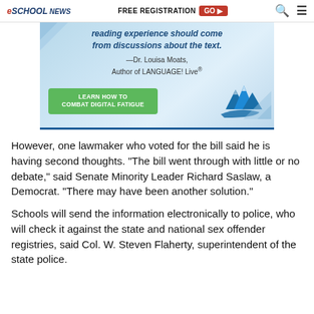eSchool News | FREE REGISTRATION GO ▶ 🔍 ≡
[Figure (illustration): Advertisement banner with quote 'reading experience should come from discussions about the text.' attributed to Dr. Louisa Moats, Author of LANGUAGE! Live®, with a green button 'LEARN HOW TO COMBAT DIGITAL FATIGUE' and mountain logo graphic on blue/light blue gradient background.]
However, one lawmaker who voted for the bill said he is having second thoughts. “The bill went through with little or no debate,” said Senate Minority Leader Richard Saslaw, a Democrat. “There may have been another solution.”
Schools will send the information electronically to police, who will check it against the state and national sex offender registries, said Col. W. Steven Flaherty, superintendent of the state police.